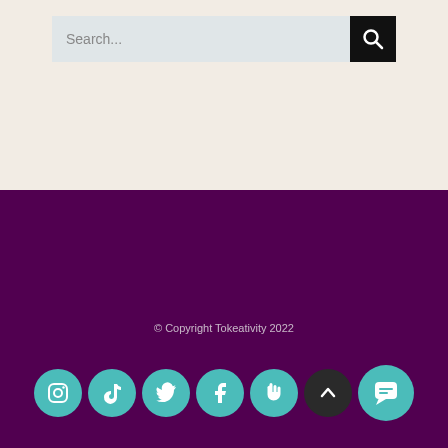[Figure (screenshot): Search bar with text input placeholder 'Search...' and black search button with magnifying glass icon]
© Copyright Tokeativity 2022
[Figure (infographic): Row of social media icon circles: Instagram, TikTok, Twitter, Facebook, hand/Clap icon, dark up-arrow button, and teal chat bubble icon]